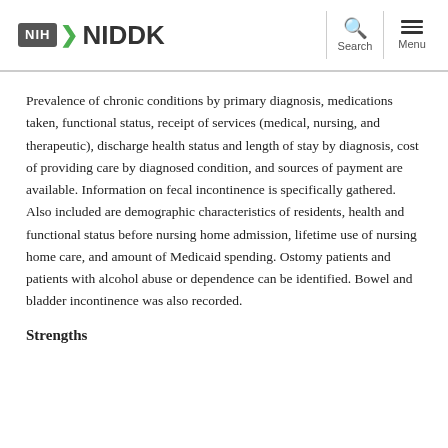NIH NIDDK | Search | Menu
Prevalence of chronic conditions by primary diagnosis, medications taken, functional status, receipt of services (medical, nursing, and therapeutic), discharge health status and length of stay by diagnosis, cost of providing care by diagnosed condition, and sources of payment are available. Information on fecal incontinence is specifically gathered. Also included are demographic characteristics of residents, health and functional status before nursing home admission, lifetime use of nursing home care, and amount of Medicaid spending. Ostomy patients and patients with alcohol abuse or dependence can be identified. Bowel and bladder incontinence was also recorded.
Strengths